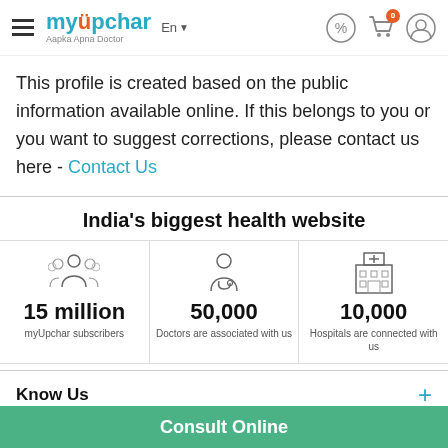myUpchar Aapka Apna Doctor — En — [icons]
This profile is created based on the public information available online. If this belongs to you or you want to suggest corrections, please contact us here - Contact Us
India's biggest health website
15 million — myUpchar subscribers
50,000 — Doctors are associated with us
10,000 — Hospitals are connected with us
Know Us
Consult Online